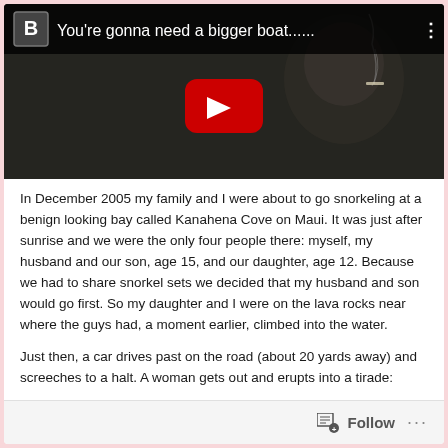[Figure (screenshot): YouTube video thumbnail showing a man smoking a cigarette in a dark scene, with the video title 'You're gonna need a bigger boat......' and a red YouTube play button overlay]
In December 2005 my family and I were about to go snorkeling at a benign looking bay called Kanahena Cove on Maui. It was just after sunrise and we were the only four people there: myself, my husband and our son, age 15, and our daughter, age 12. Because we had to share snorkel sets we decided that my husband and son would go first. So my daughter and I were on the lava rocks near where the guys had, a moment earlier, climbed into the water.
Just then, a car drives past on the road (about 20 yards away) and screeches to a halt. A woman gets out and erupts into a tirade:
“You know, there are sharks in the water,” she yells at us, “and one could take her in a single bite (pointing to my daughter).”